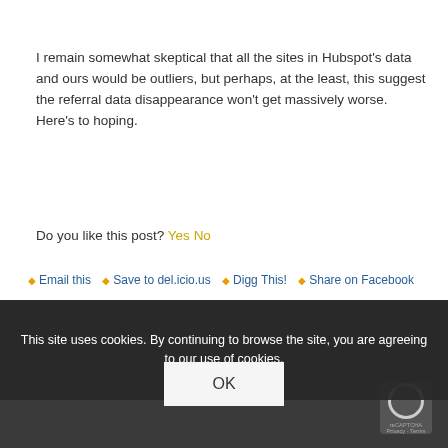I remain somewhat skeptical that all the sites in Hubspot's data and ours would be outliers, but perhaps, at the least, this suggest the referral data disappearance won't get massively worse. Here's to hoping.
Do you like this post? Yes No
◆ Email this  ◆ Save to del.icio.us  ◆ Digg This!  ◆ Share on Facebook
◆ Stumble It! (2 Reviews)
This site uses cookies. By continuing to browse the site, you are agreeing to our use of cookies.
OK
TAGS: CANADA, DOMAIN, HOSTED, SERVER, WEB AND ... HOSTING, WEB HOSTING, W... ...BSITE